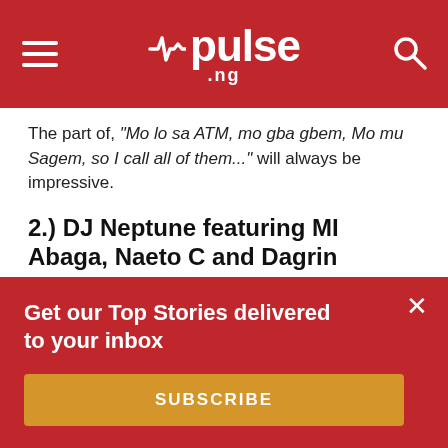pulse.ng
The part of, "Mo lo sa ATM, mo gba gbem, Mo mu Sagem, so I call all of them..." will always be impressive.
2.) DJ Neptune featuring MI Abaga, Naeto C and Dagrin
Verse; Dagrin's verse
[Figure (other): Embedded tweet or social media post placeholder with avatar and two gray lines]
Get our Top Stories delivered to your inbox
SUBSCRIBE